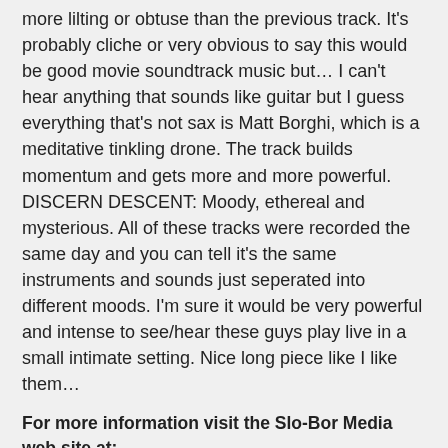more lilting or obtuse than the previous track. It's probably cliche or very obvious to say this would be good movie soundtrack music but… I can't hear anything that sounds like guitar but I guess everything that's not sax is Matt Borghi, which is a meditative tinkling drone. The track builds momentum and gets more and more powerful. DISCERN DESCENT: Moody, ethereal and mysterious. All of these tracks were recorded the same day and you can tell it's the same instruments and sounds just seperated into different moods. I'm sure it would be very powerful and intense to see/hear these guys play live in a small intimate setting. Nice long piece like I like them…
For more information visit the Slo-Bor Media web site at:
http://slobormedia.org
Visit Matt Borghi's web site at:
http://www.mattborghi.com
Visit Michael Teager's web site at: